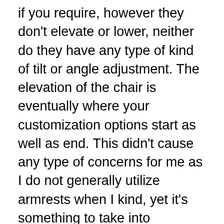if you require, however they don't elevate or lower, neither do they have any type of kind of tilt or angle adjustment. The elevation of the chair is eventually where your customization options start as well as end. This didn't cause any type of concerns for me as I do not generally utilize armrests when I kind, yet it's something to take into consideration for the armrest enthusiasts around.
The construct top quality additionally leaves me desiring daily– I've made use of chairs less than half the price of the BackStrong C1 with nicer construct high quality. The chair rocks from side to side (in a way that it should not), making the base really feel less-than stable. The left arm is additionally